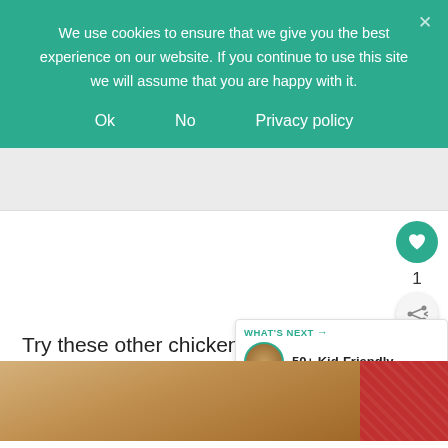We use cookies to ensure that we give you the best experience on our website. If you continue to use this site we will assume that you are happy with it.
Ok   No   Privacy policy
Try these other chicken recipes
1
WHAT'S NEXT → 50+ Kid-Friendly...
[Figure (photo): Fried chicken pieces on a plate with a red patterned cloth napkin in the background]